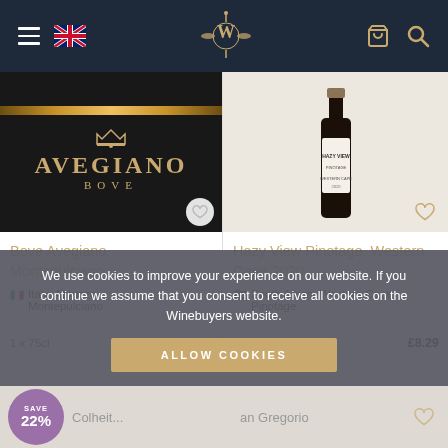Winebuyers website navigation bar with hamburger menu, UK flag, Winebuyers logo, cart and search icons
[Figure (photo): Avegiano Bove wine bottle label — black background with gold lettering showing AVEGIANO BOVE, gold crown emblem and decorative gold line]
Bove Avegiano Montepulciano...
Italy, Abruzzo
Montepulciano
1 x 75cl   £10.85
[Figure (photo): Hazy View Pinotage wine bottle — dark bottle with light label, on light beige background]
Hazy View Pinotage, Western Cape 2020
South Africa, Western Cape
Pinotage
1 x 75cl   £8.29
We use cookies to improve your experience on our website. If you continue we assume that you consent to receive all cookies on the Winebuyers website.
ALLOW COOKIES